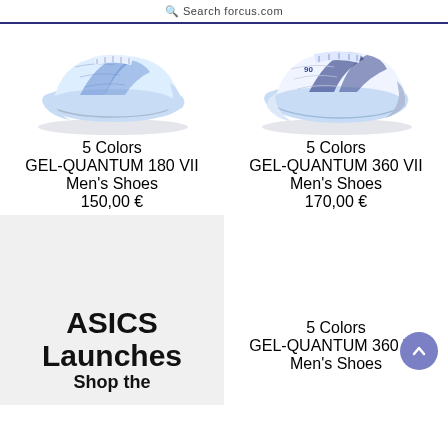Search forcus.com
[Figure (photo): ASICS GEL-QUANTUM 180 VII shoe in light blue/white colorway, side profile view]
5 Colors
GEL-QUANTUM 180 VII
Men's Shoes
150,00 €
[Figure (photo): ASICS GEL-QUANTUM 360 VII shoe in white/blue colorway, side profile view]
5 Colors
GEL-QUANTUM 360 VII
Men's Shoes
170,00 €
[Figure (infographic): Promotional banner with grey background showing ASICS Launches text and Shop the subheading]
5 Colors
GEL-QUANTUM 360 VII
Men's Shoes